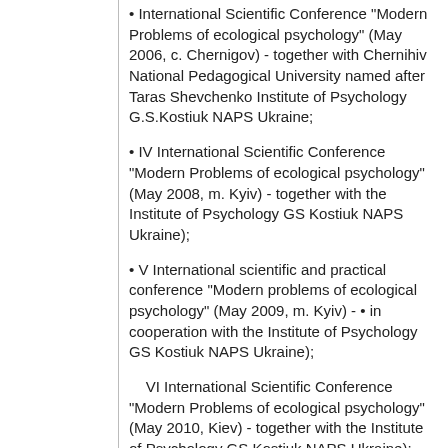• International Scientific Conference "Modern Problems of ecological psychology" (May 2006, c. Chernigov) - together with Chernihiv National Pedagogical University named after Taras Shevchenko Institute of Psychology G.S.Kostiuk NAPS Ukraine;
• IV International Scientific Conference "Modern Problems of ecological psychology" (May 2008, m. Kyiv) - together with the Institute of Psychology GS Kostiuk NAPS Ukraine);
• V International scientific and practical conference "Modern problems of ecological psychology" (May 2009, m. Kyiv) - • in cooperation with the Institute of Psychology GS Kostiuk NAPS Ukraine);
VI International Scientific Conference "Modern Problems of ecological psychology" (May 2010, Kiev) - together with the Institute of Psychology GS Kostiuk NAPS Ukraine);
VII International Scientific